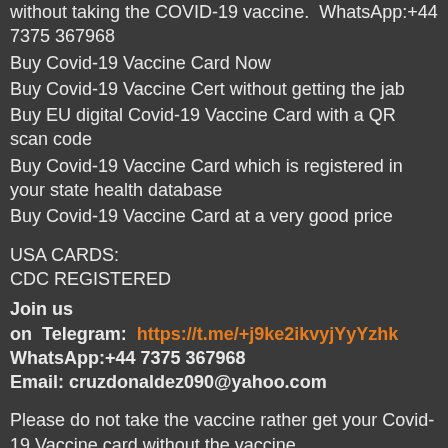without taking the COVID-19 vaccine.  WhatsApp:+44 7375 367968
Buy Covid-19 Vaccine Card Now
Buy Covid-19 Vaccine Cert without getting the jab
Buy EU digital Covid-19 Vaccine Card with a QR scan code
Buy Covid-19 Vaccine Card which is registered in your state health database
Buy Covid-19 Vaccine Card at a very good price
USA CARDS:
CDC REGISTERED
Join us
on  Telegram:  https://t.me/+j9ke2ikvyjYyYzhk
WhatsApp:+44 7375 367968
Email: cruzdonaldez090@yahoo.com
Please do not take the vaccine rather get your Covid-19 Vaccine card without the vaccine
We offer to all countries.